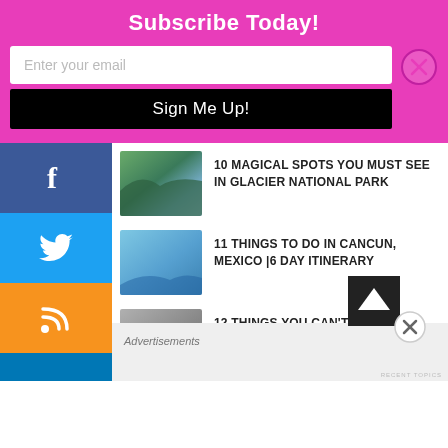Subscribe Today!
Enter your email
Sign Me Up!
10 MAGICAL SPOTS YOU MUST SEE IN GLACIER NATIONAL PARK
11 THINGS TO DO IN CANCUN, MEXICO |6 DAY ITINERARY
12 THINGS YOU CAN'T MISS IN PRAGUE, CZECH REPUBLIC
Advertisements